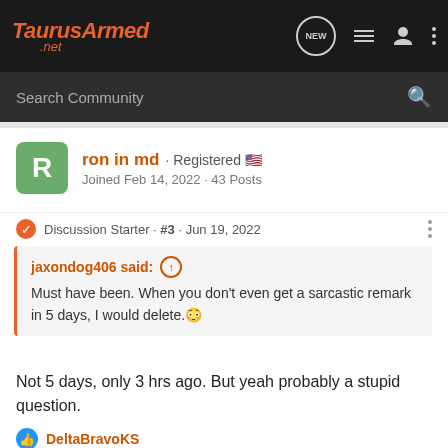TaurusArmed.net
Search Community
ron in md · Registered
Joined Feb 14, 2022 · 43 Posts
Discussion Starter · #3 · Jun 19, 2022
jaxondog406 said:
Must have been. When you don't even get a sarcastic remark in 5 days, I would delete.
Not 5 days, only 3 hrs ago. But yeah probably a stupid question.
DeltaBravoKS